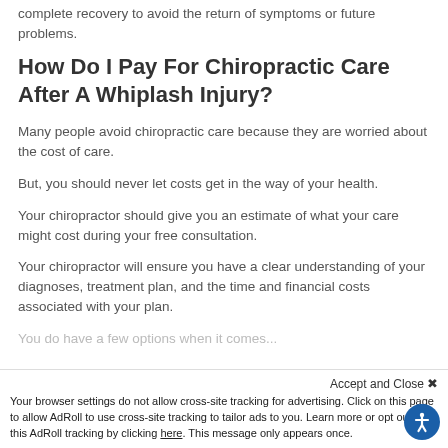complete recovery to avoid the return of symptoms or future problems.
How Do I Pay For Chiropractic Care After A Whiplash Injury?
Many people avoid chiropractic care because they are worried about the cost of care.
But, you should never let costs get in the way of your health.
Your chiropractor should give you an estimate of what your care might cost during your free consultation.
Your chiropractor will ensure you have a clear understanding of your diagnoses, treatment plan, and the time and financial costs associated with your plan.
You do have a few options when it comes...
Accept and Close ×
Your browser settings do not allow cross-site tracking for advertising. Click on this page to allow AdRoll to use cross-site tracking to tailor ads to you. Learn more or opt out of this AdRoll tracking by clicking here. This message only appears once.